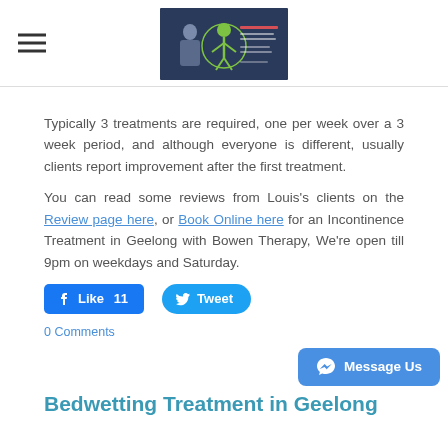[Figure (photo): Website header with hamburger menu icon on the left and a logo/banner image in the center showing a therapist with a human anatomy figure illustration]
Typically 3 treatments are required, one per week over a 3 week period, and although everyone is different, usually clients report improvement after the first treatment.
You can read some reviews from Louis's clients on the Review page here, or Book Online here for an Incontinence Treatment in Geelong with Bowen Therapy, We're open till 9pm on weekdays and Saturday.
[Figure (other): Facebook Like button showing 11 likes and Twitter Tweet button]
0 Comments
[Figure (other): Message Us button with Messenger icon]
Bedwetting Treatment in Geelong